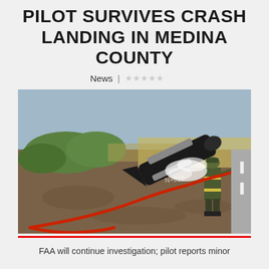PILOT SURVIVES CRASH LANDING IN MEDINA COUNTY
News | ★★★★★
[Figure (photo): A firefighter in full gear holds a red hose spraying foam or suppression agent on a crashed small aircraft lying on a dirt embankment. The plane appears inverted or at an odd angle. A red hose snakes across the foreground. Green vegetation and a road are visible in the background.]
FAA will continue investigation; pilot reports minor